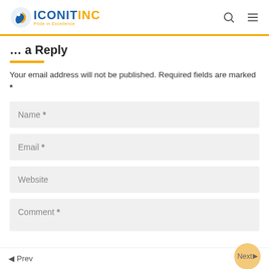ICONITINC - Pride in Excellence
Leave a Reply
Your email address will not be published. Required fields are marked *
Name *
Email *
Website
Comment *
◄ Prev   Next ►